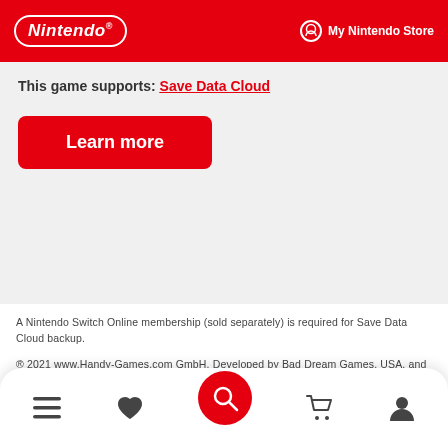Nintendo | My Nintendo Store
This game supports: Save Data Cloud
Learn more
A Nintendo Switch Online membership (sold separately) is required for Save Data Cloud backup.
® 2021 www.Handy-Games.com GmbH. Developed by Bad Dream Games, USA, and published and distibuted by HandyGames, Germany. All other brand, product names, and logos are the trademark or registered trademarks of their respective owners. All rights
Navigation bar: Menu, Favorites, Search, Cart, Account